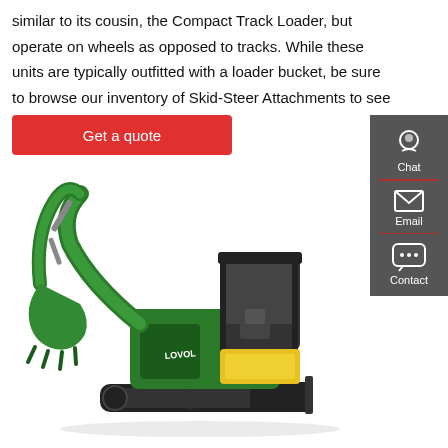similar to its cousin, the Compact Track Loader, but operate on wheels as opposed to tracks. While these units are typically outfitted with a loader bucket, be sure to browse our inventory of Skid-Steer Attachments to see what other chores
[Figure (screenshot): Red 'Get a quote' button]
[Figure (infographic): Dark grey sidebar with Chat, Email, and Contact icons]
[Figure (photo): Green and yellow Lovol mini excavator on tracks with bucket attachment]